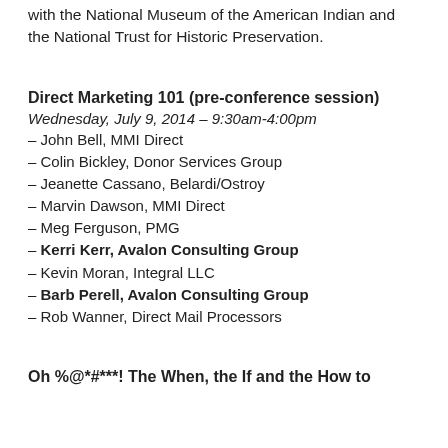with the National Museum of the American Indian and the National Trust for Historic Preservation.
Direct Marketing 101 (pre-conference session)
Wednesday, July 9, 2014 – 9:30am-4:00pm
– John Bell, MMI Direct
– Colin Bickley, Donor Services Group
– Jeanette Cassano, Belardi/Ostroy
– Marvin Dawson, MMI Direct
– Meg Ferguson, PMG
– Kerri Kerr, Avalon Consulting Group
– Kevin Moran, Integral LLC
– Barb Perell, Avalon Consulting Group
– Rob Wanner, Direct Mail Processors
Oh %@*#***! The When, the If and the How to